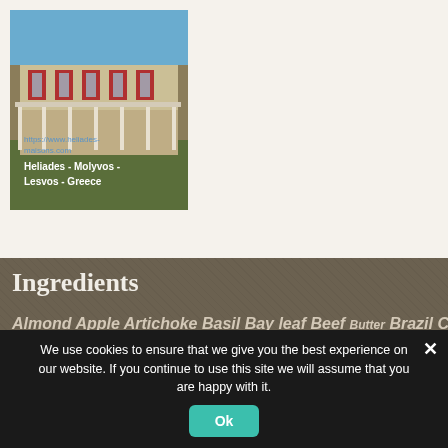[Figure (photo): Photo of a two-story building with red shutters and a covered patio/pergola, labeled 'Heliades - Molyvos - Lesvos - Greece' with a URL watermark https://www.heliades-maisons.com]
Ingredients
Almond Apple Artichoke Basil Bay leaf Beef Butter Brazil Cabbage
We use cookies to ensure that we give you the best experience on our website. If you continue to use this site we will assume that you are happy with it.